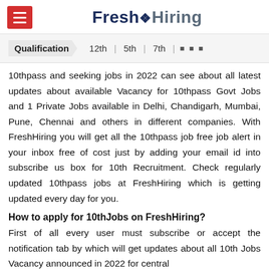Fresh Hiring
Qualification  12th  |  5th  |  7th  |  ...
10thpass and seeking jobs in 2022 can see about all latest updates about available Vacancy for 10thpass Govt Jobs and 1 Private Jobs available in Delhi, Chandigarh, Mumbai, Pune, Chennai and others in different companies. With FreshHiring you will get all the 10thpass job free job alert in your inbox free of cost just by adding your email id into subscribe us box for 10th Recruitment. Check regularly updated 10thpass jobs at FreshHiring which is getting updated every day for you.
How to apply for 10thJobs on FreshHiring?
First of all every user must subscribe or accept the notification tab by which will get updates about all 10th Jobs Vacancy announced in 2022 for central